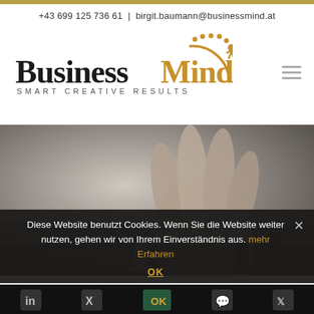+43 699 125 736 61 | birgit.baumann@businessmind.at
[Figure (logo): BusinessMind logo with gold dots and arc, tagline SMART CREATIVE RESULTS]
[Figure (photo): Black and white photo of a hand moving a chess piece]
Diese Website benutzt Cookies. Wenn Sie die Website weiter nutzen, gehen wir von Ihrem Einverständnis aus. mehr Erfahren
OK